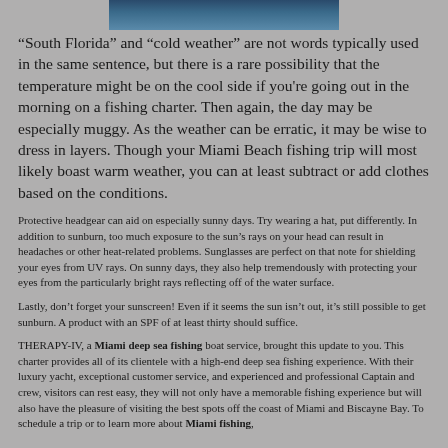[Figure (photo): Partial view of ocean water with waves, cropped at top of page]
“South Florida” and “cold weather” are not words typically used in the same sentence, but there is a rare possibility that the temperature might be on the cool side if you're going out in the morning on a fishing charter. Then again, the day may be especially muggy. As the weather can be erratic, it may be wise to dress in layers. Though your Miami Beach fishing trip will most likely boast warm weather, you can at least subtract or add clothes based on the conditions.
Protective headgear can aid on especially sunny days. Try wearing a hat, put differently. In addition to sunburn, too much exposure to the sun’s rays on your head can result in headaches or other heat-related problems. Sunglasses are perfect on that note for shielding your eyes from UV rays. On sunny days, they also help tremendously with protecting your eyes from the particularly bright rays reflecting off of the water surface.
Lastly, don’t forget your sunscreen! Even if it seems the sun isn’t out, it’s still possible to get sunburn. A product with an SPF of at least thirty should suffice.
THERAPY-IV, a Miami deep sea fishing boat service, brought this update to you. This charter provides all of its clientele with a high-end deep sea fishing experience. With their luxury yacht, exceptional customer service, and experienced and professional Captain and crew, visitors can rest easy, they will not only have a memorable fishing experience but will also have the pleasure of visiting the best spots off the coast of Miami and Biscayne Bay. To schedule a trip or to learn more about Miami fishing,